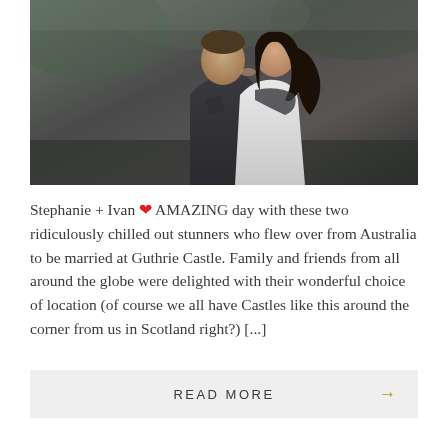[Figure (photo): A couple kissing outdoors. The groom is wearing a dark grey jacket and the bride has long dark hair and a white lace dress. Blurred greenery in the background.]
Stephanie + Ivan ❤ AMAZING day with these two ridiculously chilled out stunners who flew over from Australia to be married at Guthrie Castle. Family and friends from all around the globe were delighted with their wonderful choice of location (of course we all have Castles like this around the corner from us in Scotland right?) [...]
READ MORE →